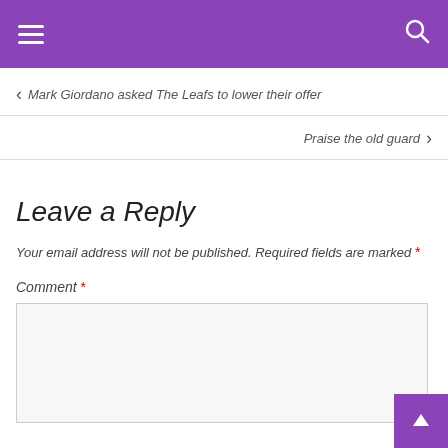Navigation bar with hamburger menu and search icon
← Mark Giordano asked The Leafs to lower their offer
Praise the old guard ›
Leave a Reply
Your email address will not be published. Required fields are marked *
Comment *